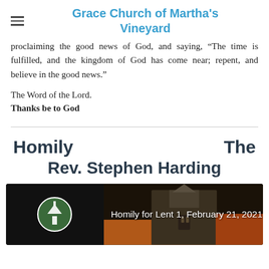Grace Church of Martha's Vineyard
proclaiming the good news of God, and saying, “The time is fulfilled, and the kingdom of God has come near; repent, and believe in the good news.”
The Word of the Lord.
Thanks be to God
Homily   The Rev. Stephen Harding
[Figure (photo): Video thumbnail for 'Homily for Lent 1, February 21, 2021' from Grace Church of Martha's Vineyard, showing a church building icon on dark background and a church steeple/cupola on the right.]